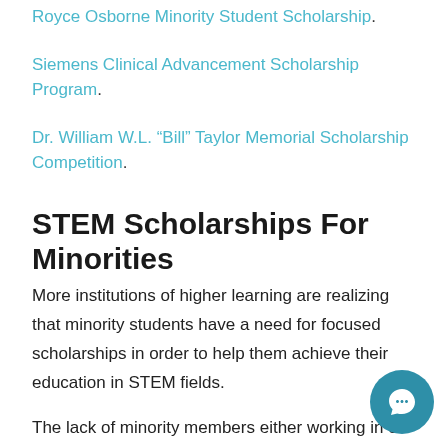Royce Osborne Minority Student Scholarship.
Siemens Clinical Advancement Scholarship Program.
Dr. William W.L. “Bill” Taylor Memorial Scholarship Competition.
STEM Scholarships For Minorities
More institutions of higher learning are realizing that minority students have a need for focused scholarships in order to help them achieve their education in STEM fields.
The lack of minority members either working in or